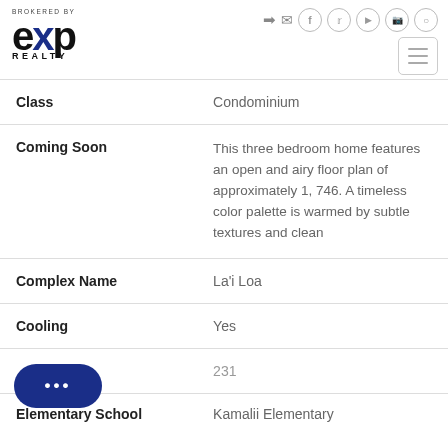[Figure (logo): eXp Realty logo with BROKERED BY text above]
| Field | Value |
| --- | --- |
| Class | Condominium |
| Coming Soon | This three bedroom home features an open and airy floor plan of approximately 1, 746. A timeless color palette is warmed by subtle textures and clean |
| Complex Name | La'i Loa |
| Cooling | Yes |
|  | 231 |
| Elementary School | Kamalii Elementary |